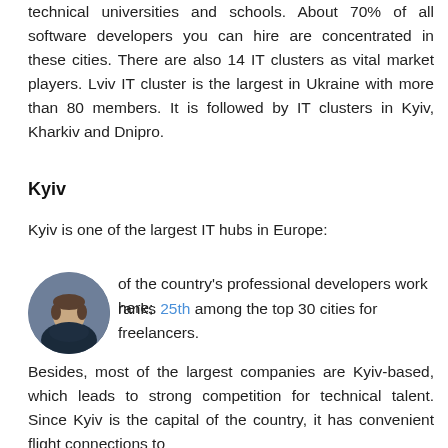technical universities and schools. About 70% of all software developers you can hire are concentrated in these cities. There are also 14 IT clusters as vital market players. Lviv IT cluster is the largest in Ukraine with more than 80 members. It is followed by IT clusters in Kyiv, Kharkiv and Dnipro.
Kyiv
Kyiv is one of the largest IT hubs in Europe:
[Figure (photo): Circular avatar photo of a man in a dark shirt]
of the country's professional developers work here;
ranks 25th among the top 30 cities for freelancers.
Besides, most of the largest companies are Kyiv-based, which leads to strong competition for technical talent. Since Kyiv is the capital of the country, it has convenient flight connections to